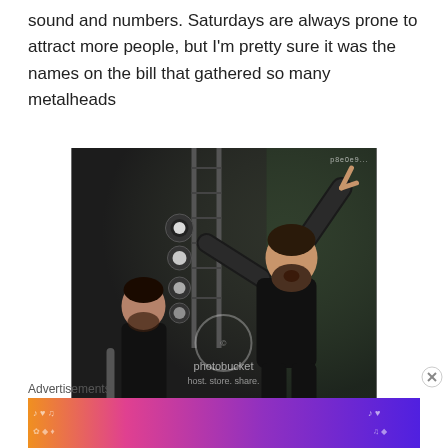sound and numbers. Saturdays are always prone to attract more people, but I'm pretty sure it was the names on the bill that gathered so many metalheads
[Figure (photo): Two male musicians performing on stage. The main performer in the foreground is wearing a black tank top, has a beard, and has both arms raised expressively. Another musician is visible in the background on the left. Stage lighting equipment and rigging are visible in the background. A Photobucket watermark is overlaid on the image.]
Advertisements
[Figure (infographic): Fandom on Tumblr advertisement banner with colorful gradient background (orange to purple) and bold white text reading FANDOM ON tumblr with music and heart decorative elements.]